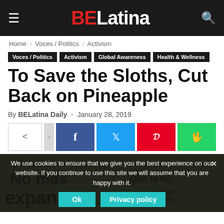BELatina
Home › Voces / Politics › Activism
Voces / Politics
Activism
Global Awareness
Health & Wellness
To Save the Sloths, Cut Back on Pineapple
By BELatina Daily - January 28, 2019
[Figure (screenshot): Social share buttons: share icon, Facebook, Twitter, Pinterest, WhatsApp]
[Figure (photo): Protest signs in Spanish visible in background, partially obscured by cookie consent overlay]
We use cookies to ensure that we give you the best experience on our website. If you continue to use this site we will assume that you are happy with it.
Ok   Privacy policy